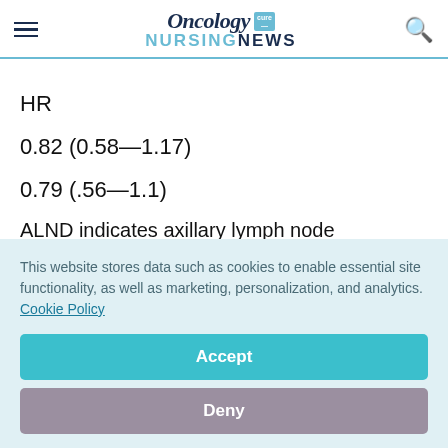Oncology NURSING NEWS
HR
0.82 (0.58—1.17)
0.79 (.56—1.1)
ALND indicates axillary lymph node dissection;
This website stores data such as cookies to enable essential site functionality, as well as marketing, personalization, and analytics. Cookie Policy
Accept
Deny